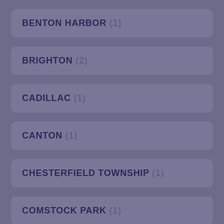BENTON HARBOR (1)
BRIGHTON (2)
CADILLAC (1)
CANTON (1)
CHESTERFIELD TOWNSHIP (1)
COMSTOCK PARK (1)